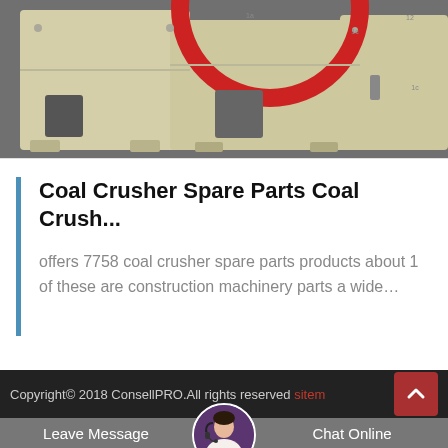[Figure (photo): Close-up photo of a coal crusher machine with cream/beige colored metal body and a red circular pulley wheel at the top. The machine parts are shown on a gray surface.]
Coal Crusher Spare Parts Coal Crush...
offers 7758 coal crusher spare parts products about 1 of these are construction machinery parts a wide…
Copyright© 2018 ConsellPRO.All rights reserved sitem
Leave Message
Chat Online